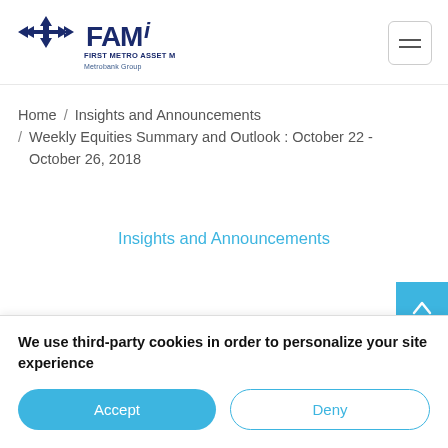[Figure (logo): FAMi - First Metro Asset Management Inc. Metrobank Group logo with arrow/compass icon]
Home / Insights and Announcements / Weekly Equities Summary and Outlook : October 22 - October 26, 2018
Insights and Announcements
We use third-party cookies in order to personalize your site experience
Accept
Deny